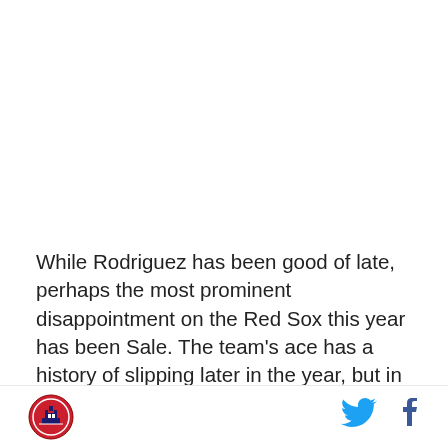While Rodriguez has been good of late, perhaps the most prominent disappointment on the Red Sox this year has been Sale. The team's ace has a history of slipping later in the year, but in 2019 he's been average-to-bad pretty much the entire season. The good news is he reversed that trend in his last start. Now, this was against a Blue Jays team that has hit well against him but has been bad on the whole in
[Figure (logo): Circular red and black logo with a building/tower icon in the center]
[Figure (logo): Twitter bird icon in blue]
[Figure (logo): Facebook f icon in dark blue]